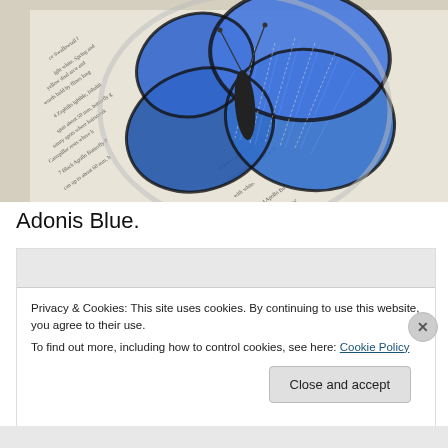[Figure (photo): A textile/fabric butterfly brooch resting on open pages of a butterfly field guide book. The butterfly is blue with black edges and white stitching, placed on top of book text mentioning Black Apollo Butterfly and Red Apollo Butterfly.]
Adonis Blue.
Privacy & Cookies: This site uses cookies. By continuing to use this website, you agree to their use.
To find out more, including how to control cookies, see here: Cookie Policy
Close and accept